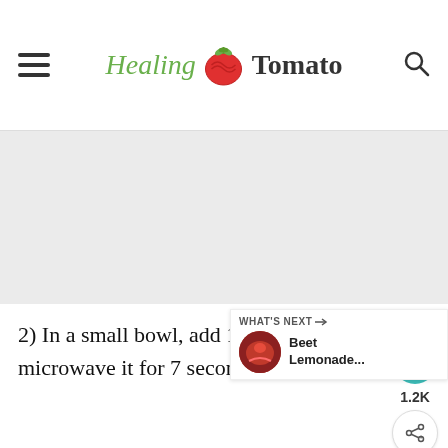Healing Tomato
[Figure (other): Large gray placeholder image area]
2) In a small bowl, add 1/4 cup of d... microwave it for 7 seconds.  That should be
[Figure (infographic): What's Next panel showing Beet Lemonade... with thumbnail]